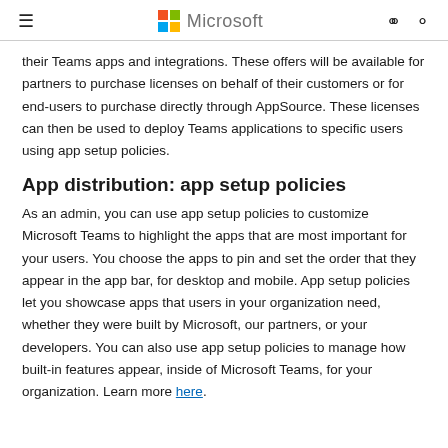Microsoft
their Teams apps and integrations. These offers will be available for partners to purchase licenses on behalf of their customers or for end-users to purchase directly through AppSource. These licenses can then be used to deploy Teams applications to specific users using app setup policies.
App distribution: app setup policies
As an admin, you can use app setup policies to customize Microsoft Teams to highlight the apps that are most important for your users. You choose the apps to pin and set the order that they appear in the app bar, for desktop and mobile. App setup policies let you showcase apps that users in your organization need, whether they were built by Microsoft, our partners, or your developers. You can also use app setup policies to manage how built-in features appear, inside of Microsoft Teams, for your organization. Learn more here.